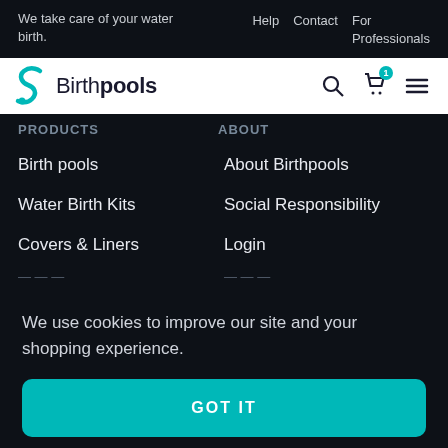We take care of your water birth.    Help   Contact   For Professionals
[Figure (logo): Birthpools logo with teal wave icon and text 'Birthpools']
Birth pools
Water Birth Kits
Covers & Liners
About Birthpools
Social Responsibility
Login
We use cookies to improve our site and your shopping experience.
GOT IT